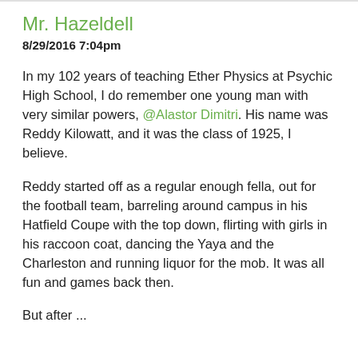Mr. Hazeldell
8/29/2016 7:04pm
In my 102 years of teaching Ether Physics at Psychic High School, I do remember one young man with very similar powers, @Alastor Dimitri. His name was Reddy Kilowatt, and it was the class of 1925, I believe.
Reddy started off as a regular enough fella, out for the football team, barreling around campus in his Hatfield Coupe with the top down, flirting with girls in his raccoon coat, dancing the Yaya and the Charleston and running liquor for the mob. It was all fun and games back then.